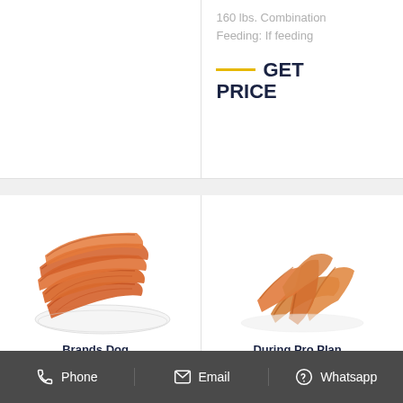160 lbs. Combination Feeding: If feeding
GET PRICE
[Figure (photo): Dried chicken meat strips on a white plate]
[Figure (photo): Dried chicken jerky strips stacked together]
Brands Dog...
During Pro Plan...
Phone   Email   Whatsapp